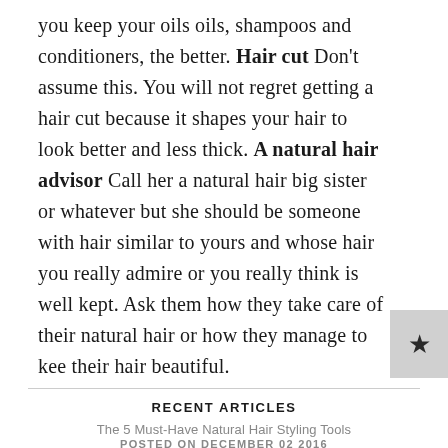you keep your oils oils, shampoos and conditioners, the better. Hair cut Don't assume this. You will not regret getting a hair cut because it shapes your hair to look better and less thick. A natural hair advisor Call her a natural hair big sister or whatever but she should be someone with hair similar to yours and whose hair you really admire or you really think is well kept. Ask them how they take care of their natural hair or how they manage to keep their hair beautiful.
RECENT ARTICLES
The 5 Must-Have Natural Hair Styling Tools
POSTED ON DECEMBER 02 2016
Every Natural Hairstyle Isn't Workplace Acceptable!